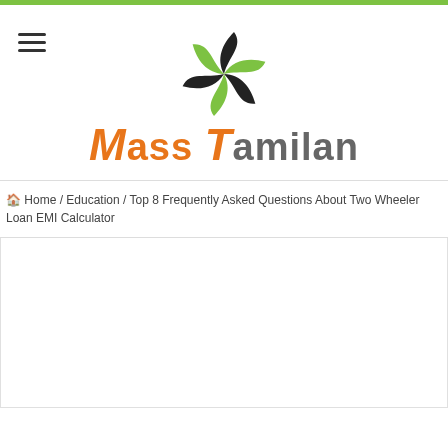Mass Tamilan
[Figure (logo): Mass Tamilan website logo with green and black swirl icon above the site name 'Mass Tamilan' in orange and gray bold italic text]
🏠 Home / Education / Top 8 Frequently Asked Questions About Two Wheeler Loan EMI Calculator